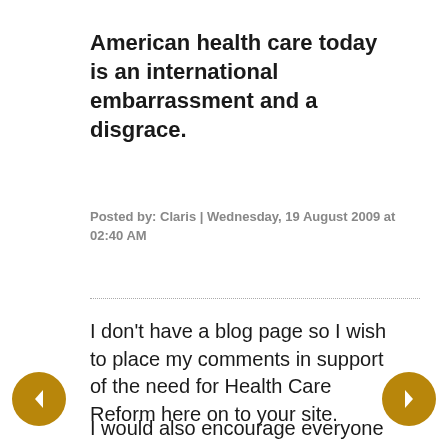American health care today is an international embarrassment and a disgrace.
Posted by: Claris | Wednesday, 19 August 2009 at 02:40 AM
I don't have a blog page so I wish to place my comments in support of the need for Health Care Reform here on to your site.
I would also encourage everyone to